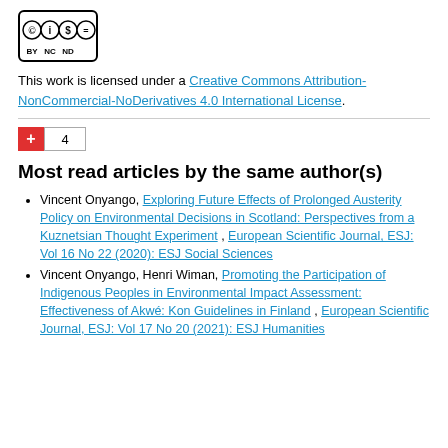[Figure (logo): Creative Commons BY NC ND license logo with four circles containing cc, person, dollar-sign-slash, and equals-sign icons, with labels BY NC ND below]
This work is licensed under a Creative Commons Attribution-NonCommercial-NoDerivatives 4.0 International License.
+ 4
Most read articles by the same author(s)
Vincent Onyango, Exploring Future Effects of Prolonged Austerity Policy on Environmental Decisions in Scotland: Perspectives from a Kuznetsian Thought Experiment , European Scientific Journal, ESJ: Vol 16 No 22 (2020): ESJ Social Sciences
Vincent Onyango, Henri Wiman, Promoting the Participation of Indigenous Peoples in Environmental Impact Assessment: Effectiveness of Akwé: Kon Guidelines in Finland , European Scientific Journal, ESJ: Vol 17 No 20 (2021): ESJ Humanities